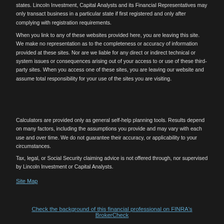states.  Lincoln Investment, Capital Analysts and its Financial Representatives may only transact business in a particular state if first registered and only after complying with registration requirements.
When you link to any of these websites provided here, you are leaving this site.  We make no representation as to the completeness or accuracy of information provided at these sites.  Nor are we liable for any direct or indirect technical or system issues or consequences arising out of your access to or use of these third-party sites.  When you access one of these sites, you are leaving our website and assume total responsibility for your use of the sites you are visiting.
Calculators are provided only as general self-help planning tools. Results depend on many factors, including the assumptions you provide and may vary with each use and over time. We do not guarantee their accuracy, or applicability to your circumstances.
Tax, legal, or Social Security claiming advice is not offered through, nor supervised by Lincoln Investment or Capital Analysts.
Site Map
Check the background of this financial professional on FINRA's BrokerCheck